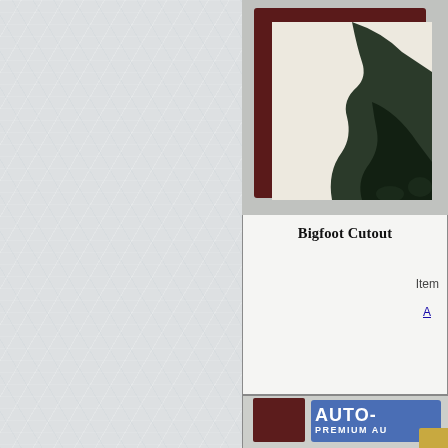[Figure (photo): Partial view of a framed Bigfoot silhouette cutout print in a dark wood/maroon frame with cream matte background, cropped at top-right of page]
Bigfoot Cutout
Item
A
[Figure (photo): Partial view of a product card showing an AUTO- PREMIUM AU... sign in blue with white bold text, partially cropped at bottom-right of page, with a dark wood frame and yellow/golden element]